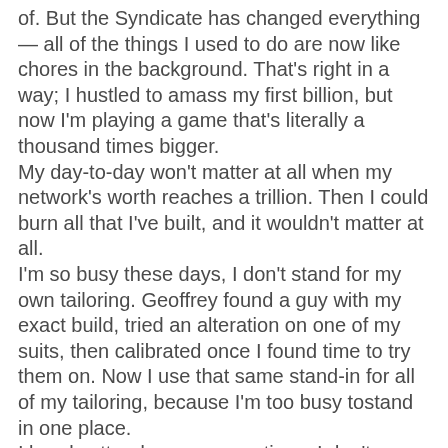of. But the Syndicate has changed everything — all of the things I used to do are now like chores in the background. That's right in a way; I hustled to amass my first billion, but now I'm playing a game that's literally a thousand times bigger.
My day-to-day won't matter at all when my network's worth reaches a trillion. Then I could burn all that I've built, and it wouldn't matter at all.
I'm so busy these days, I don't stand for my own tailoring. Geoffrey found a guy with my exact build, tried an alteration on one of my suits, then calibrated once I found time to try them on. Now I use that same stand-in for all of my tailoring, because I'm too busy tostand in one place.
I barely attend my own meetings. I don't answer my own phone.
I have to do my own workouts, unfortunately, but I have three personal trainers, a nutritionist, a cook, and several cross-discipline instructors for the sports I enjoy most, all at my disposal to tell me exactly what to do and when.
Geoffrey translates vague descriptions of clothing into wardrobe choices for the nextday so that I don't have to think.
Every fashion use in is created for My life however I